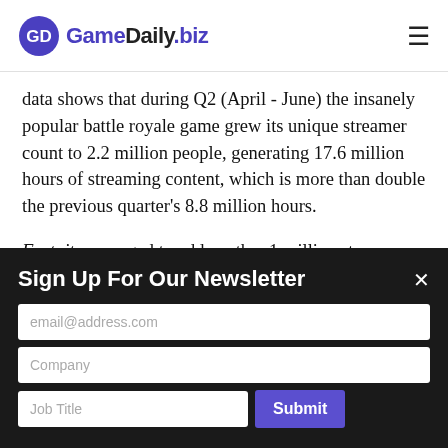GameDaily.biz
data shows that during Q2 (April - June) the insanely popular battle royale game grew its unique streamer count to 2.2 million people, generating 17.6 million hours of streaming content, which is more than double the previous quarter's 8.8 million hours.
Fortnite managed to add another 1 million streamers during the quarter and the gap with PUBG has become increasingly small, taking...
Sign Up For Our Newsletter
email@address.com
Company
Job Title
Submit